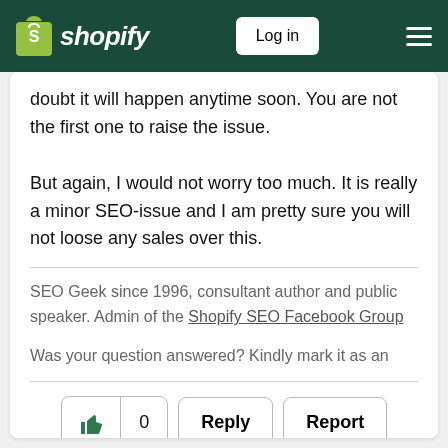shopify — Log in
doubt it will happen anytime soon. You are not the first one to raise the issue.

But again, I would not worry too much. It is really a minor SEO-issue and I am pretty sure you will not loose any sales over this.
SEO Geek since 1996, consultant author and public speaker. Admin of the Shopify SEO Facebook Group
Was your question answered? Kindly mark it as an